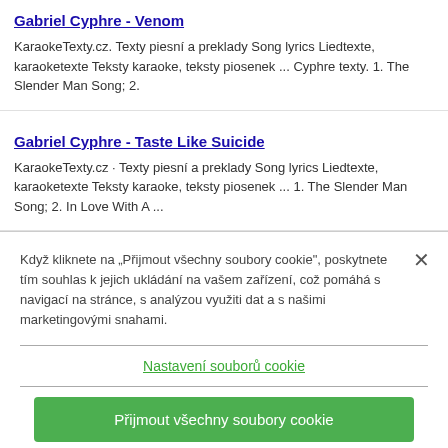Gabriel Cyphre - Venom
KaraokeTexty.cz. Texty piesní a preklady Song lyrics Liedtexte, karaoketexte Teksty karaoke, teksty piosenek ... Cyphre texty. 1. The Slender Man Song; 2.
Gabriel Cyphre - Taste Like Suicide
KaraokeTexty.cz · Texty piesní a preklady Song lyrics Liedtexte, karaoketexte Teksty karaoke, teksty piosenek ... 1. The Slender Man Song; 2. In Love With A ...
Když kliknete na „Přijmout všechny soubory cookie", poskytnete tím souhlas k jejich ukládání na vašem zařízení, což pomáhá s navigací na stránce, s analýzou využiti dat a s našimi marketingovými snahami.
Nastavení souborů cookie
Přijmout všechny soubory cookie